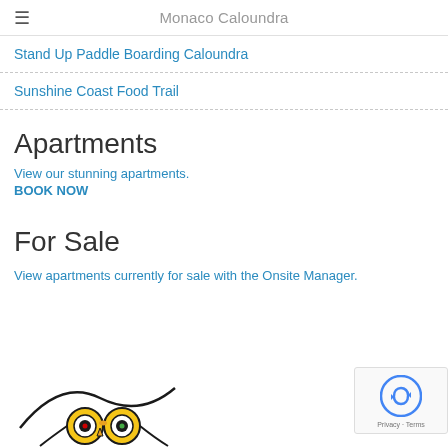Monaco Caloundra
Stand Up Paddle Boarding Caloundra
Sunshine Coast Food Trail
Apartments
View our stunning apartments.
BOOK NOW
For Sale
View apartments currently for sale with the Onsite Manager.
[Figure (logo): TripAdvisor owl logo]
[Figure (other): reCAPTCHA Privacy - Terms badge]